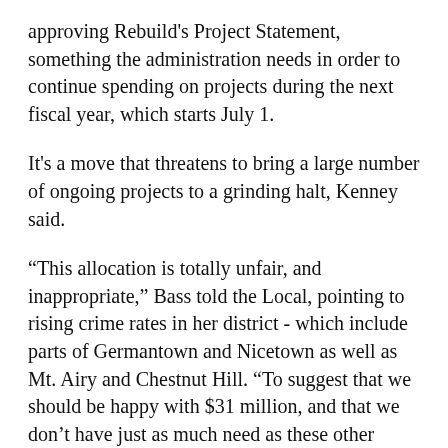approving Rebuild's Project Statement, something the administration needs in order to continue spending on projects during the next fiscal year, which starts July 1.
It's a move that threatens to bring a large number of ongoing projects to a grinding halt, Kenney said.
“This allocation is totally unfair, and inappropriate,” Bass told the Local, pointing to rising crime rates in her district - which include parts of Germantown and Nicetown as well as Mt. Airy and Chestnut Hill. “To suggest that we should be happy with $31 million, and that we don’t have just as much need as these other neighborhoods do is absurd.”
Bass said she’s hoping that Kenny comes up with “a spending plan that’s equitable” by the time her